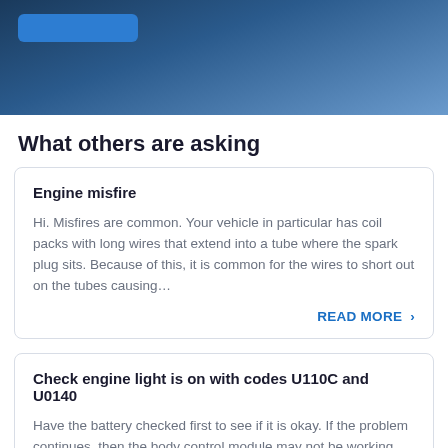[Figure (photo): Dark blue automotive hero image with a blue button in the top-left corner and machinery/engine parts visible in the background]
What others are asking
Engine misfire

Hi. Misfires are common. Your vehicle in particular has coil packs with long wires that extend into a tube where the spark plug sits. Because of this, it is common for the wires to short out on the tubes causing...

READ MORE >
Check engine light is on with codes U110C and U0140

Have the battery checked first to see if it is okay. If the problem continues, then the body control module may not be working properly and would need to be